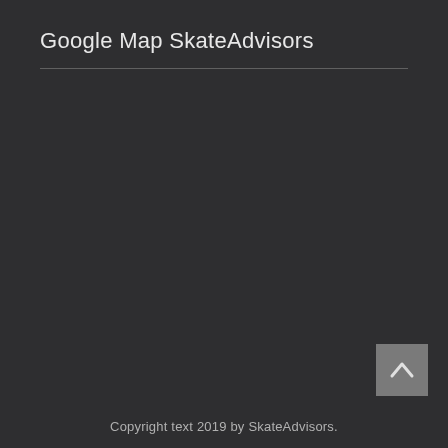Google Map SkateAdvisors
Copyright text 2019 by SkateAdvisors.